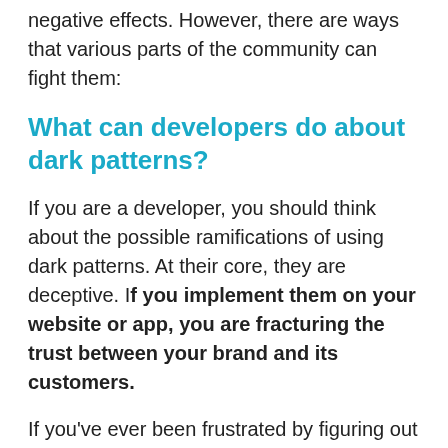negative effects. However, there are ways that various parts of the community can fight them:
What can developers do about dark patterns?
If you are a developer, you should think about the possible ramifications of using dark patterns. At their core, they are deceptive. If you implement them on your website or app, you are fracturing the trust between your brand and its customers.
If you've ever been frustrated by figuring out the cookie options or angrily called your credit card company after being billed after a “free trial”, you will know what this feels like. You might even